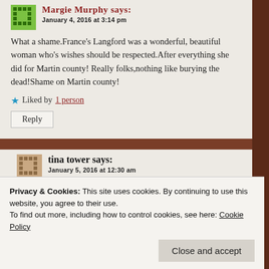Margie Murphy says: January 4, 2016 at 3:14 pm
What a shame.France's Langford was a wonderful, beautiful woman who's wishes should be respected.After everything she did for Martin county! Really folks,nothing like burying the dead!Shame on Martin county!
★ Liked by 1 person
Reply
tina tower says: January 5, 2016 at 12:30 am
Privacy & Cookies: This site uses cookies. By continuing to use this website, you agree to their use. To find out more, including how to control cookies, see here: Cookie Policy
Close and accept